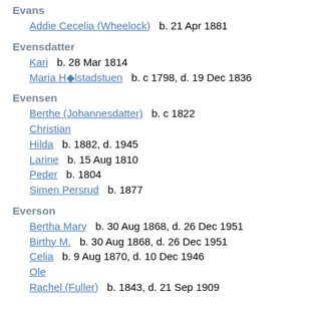Evans
Addie Cecelia (Wheelock)   b. 21 Apr 1881
Evensdatter
Kari   b. 28 Mar 1814
Maria Hølstadstuen   b. c 1798, d. 19 Dec 1836
Evensen
Berthe (Johannesdatter)   b. c 1822
Christian
Hilda   b. 1882, d. 1945
Larine   b. 15 Aug 1810
Peder   b. 1804
Simen Persrud   b. 1877
Everson
Bertha Mary   b. 30 Aug 1868, d. 26 Dec 1951
Birthy M.   b. 30 Aug 1868, d. 26 Dec 1951
Celia   b. 9 Aug 1870, d. 10 Dec 1946
Ole
Rachel (Fuller)   b. 1843, d. 21 Sep 1909